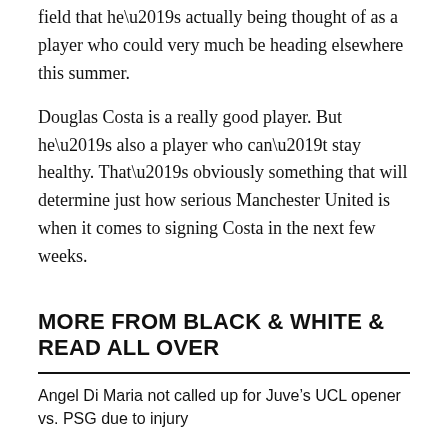field that he’s actually being thought of as a player who could very much be heading elsewhere this summer.
Douglas Costa is a really good player. But he’s also a player who can’t stay healthy. That’s obviously something that will determine just how serious Manchester United is when it comes to signing Costa in the next few weeks.
MORE FROM BLACK & WHITE & READ ALL OVER
Angel Di Maria not called up for Juve’s UCL opener vs. PSG due to injury
Manu’s Grab Bag: Letdown City
Allegri remains obstinate as Juventus fall flat against Fiorentina